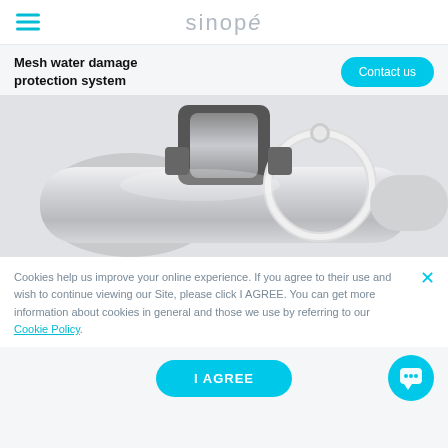sinopé
Mesh water damage protection system
[Figure (photo): Close-up product photo of a metallic water valve/pipe fitting with a circular ring handle, showing silver/chrome metallic surfaces and a ball valve mechanism]
Cookies help us improve your online experience. If you agree to their use and wish to continue viewing our Site, please click I AGREE. You can get more information about cookies in general and those we use by referring to our Cookie Policy.